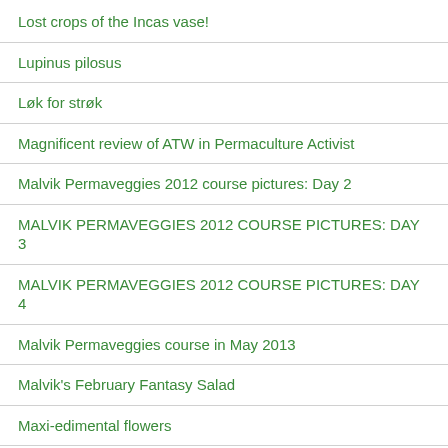Lost crops of the Incas vase!
Lupinus pilosus
Løk for strøk
Magnificent review of ATW in Permaculture Activist
Malvik Permaveggies 2012 course pictures: Day 2
MALVIK PERMAVEGGIES 2012 COURSE PICTURES: DAY 3
MALVIK PERMAVEGGIES 2012 COURSE PICTURES: DAY 4
Malvik Permaveggies course in May 2013
Malvik's February Fantasy Salad
Maxi-edimental flowers
Mertensia lanceolata
Mid-March Dandelions
Mine artikler i Sonn og Nyttevekster / Norwegian articles in the